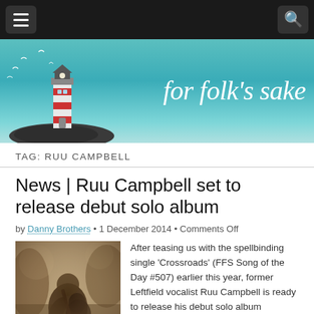for folk's sake
TAG: RUU CAMPBELL
News | Ruu Campbell set to release debut solo album
by Danny Brothers • 1 December 2014 • Comments Off
[Figure (photo): Sepia-toned photo of a man playing acoustic guitar, shot outdoors with trees in background, soft bokeh lighting]
After teasing us with the spellbinding single 'Crossroads' (FFS Song of the Day #507) earlier this year, former Leftfield vocalist Ruu Campbell is ready to release his debut solo album Heartsong next Monday, December